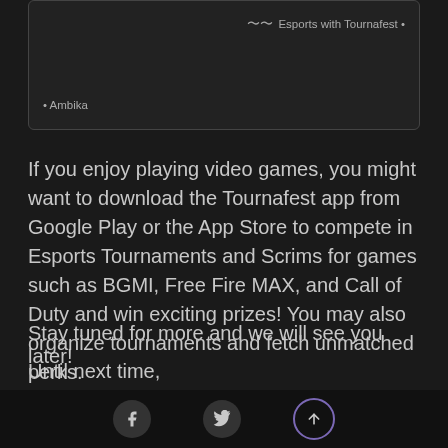Esports with Tournafest • Ambika
If you enjoy playing video games, you might want to download the Tournafest app from Google Play or the App Store to compete in Esports Tournaments and Scrims for games such as BGMI, Free Fire MAX, and Call of Duty and win exciting prizes! You may also organize tournaments and fetch unmatched perks.
Stay tuned for more and we will see you later!
Until next time,
Social icons: Facebook, Twitter, Scroll-to-top